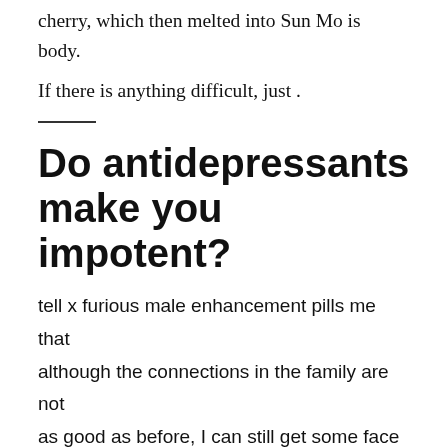cherry, which then melted into Sun Mo is body.
If there is anything difficult, just .
Do antidepressants make you impotent?
tell x furious male enhancement pills me that although the connections in the family are not as good as before, I can still get some face if I risk my face.
Li Ziqi explained.Then he warned But there